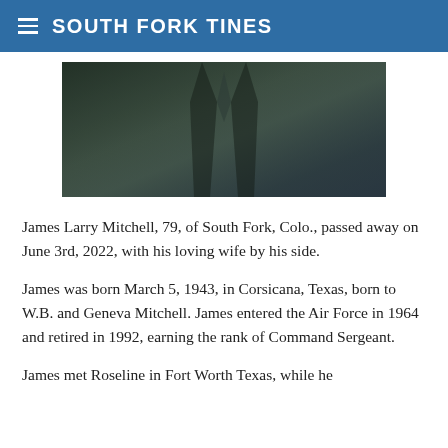SOUTH FORK TINES
[Figure (photo): Partial photo of a person wearing a dark suit or jacket, cropped showing torso area]
James Larry Mitchell, 79, of South Fork, Colo., passed away on June 3rd, 2022, with his loving wife by his side.
James was born March 5, 1943, in Corsicana, Texas, born to W.B. and Geneva Mitchell. James entered the Air Force in 1964 and retired in 1992, earning the rank of Command Sergeant.
James met Roseline in Fort Worth Texas, while he